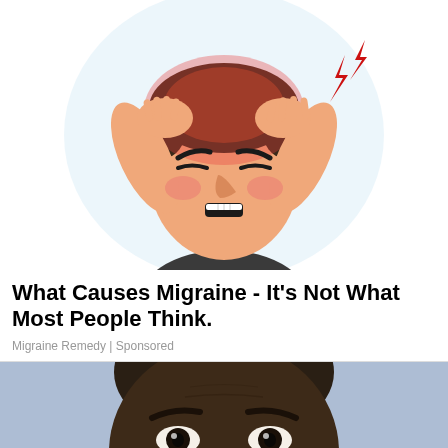[Figure (illustration): Cartoon illustration of a person grimacing in pain with both hands pressed to their head, red glow around the head indicating pain, red lightning bolt symbols nearby, on a light blue-white background]
What Causes Migraine - It's Not What Most People Think.
Migraine Remedy | Sponsored
[Figure (photo): Close-up photo of a Black man's face against a light blue background, showing eyes and forehead area, cropped]